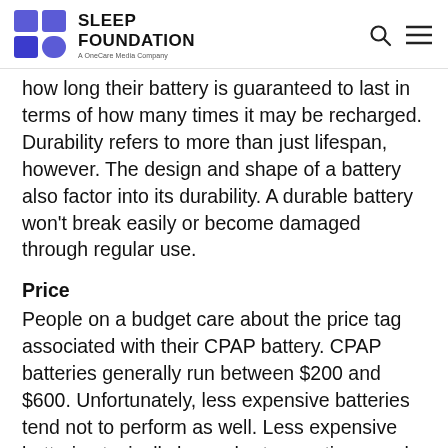SLEEP FOUNDATION — A OneCare Media Company
how long their battery is guaranteed to last in terms of how many times it may be recharged. Durability refers to more than just lifespan, however. The design and shape of a battery also factor into its durability. A durable battery won't break easily or become damaged through regular use.
Price
People on a budget care about the price tag associated with their CPAP battery. CPAP batteries generally run between $200 and $600. Unfortunately, less expensive batteries tend not to perform as well. Less expensive batteries typically have shorter run times and longer charge times. Of course, this is a generalization and not a rule...